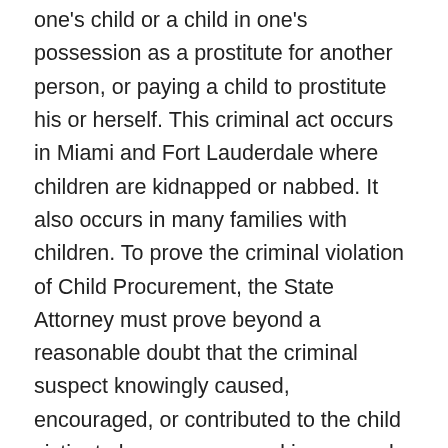one's child or a child in one's possession as a prostitute for another person, or paying a child to prostitute his or herself. This criminal act occurs in Miami and Fort Lauderdale where children are kidnapped or nabbed. It also occurs in many families with children. To prove the criminal violation of Child Procurement, the State Attorney must prove beyond a reasonable doubt that the criminal suspect knowingly caused, encouraged, or contributed to the child victim to become engaged in a sexual act for payment, either by the criminal suspect's act, threat, command, or persuasion. “Child” means any person under the age of 18. Child Procurement is one of the many criminal acts under the category of Sex Trafficking, which is also popular in Miami and Fort Lauderdale. If you are caught participating in Child Procurement or other Sex Trafficking, whether you are a participant, purchaser,